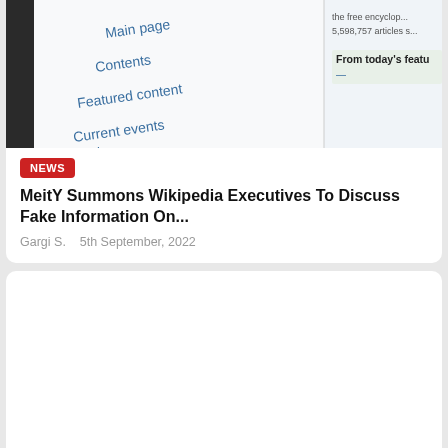[Figure (screenshot): Screenshot of Wikipedia main page showing navigation links: Main page, Contents, Featured content, Current events, and a partial view of 'From today's featu...' section with article count text partially visible.]
MeitY Summons Wikipedia Executives To Discuss Fake Information On...
Gargi S.    5th September, 2022